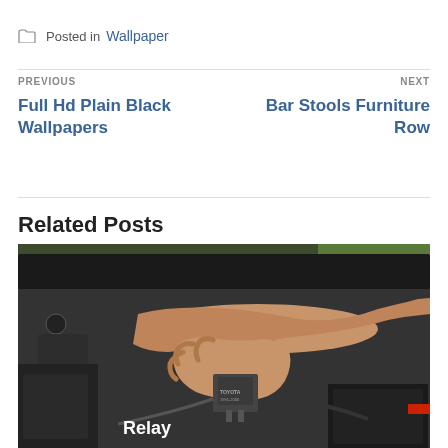Posted in Wallpaper
PREVIOUS
Full Hd Plain Black Wallpapers
NEXT
Bar Stools Furniture Row
Related Posts
[Figure (photo): A person's hand reaching into a car engine bay, holding a small Toyota relay component. White text 'Relay' is overlaid on the lower left of the image.]